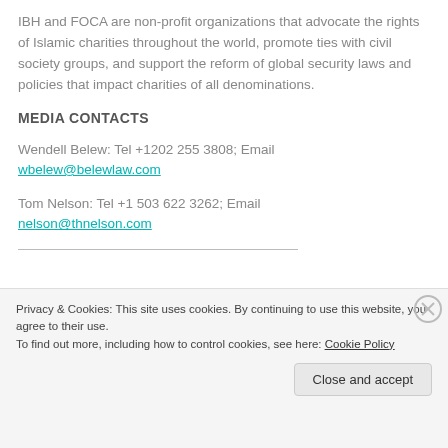IBH and FOCA are non-profit organizations that advocate the rights of Islamic charities throughout the world, promote ties with civil society groups, and support the reform of global security laws and policies that impact charities of all denominations.
MEDIA CONTACTS
Wendell Belew: Tel +1202 255 3808; Email wbelew@belewlaw.com
Tom Nelson: Tel +1 503 622 3262; Email nelson@thnelson.com
Privacy & Cookies: This site uses cookies. By continuing to use this website, you agree to their use.
To find out more, including how to control cookies, see here: Cookie Policy
Close and accept